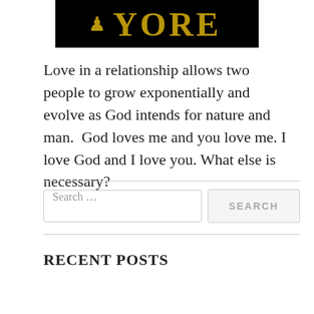[Figure (illustration): Black banner with gold/bronze bold uppercase text partially visible, reading 'YORE' with chess piece icons, on a dark background.]
Love in a relationship allows two people to grow exponentially and evolve as God intends for nature and man.  God loves me and you love me. I love God and I love you. What else is necessary?
Search …
RECENT POSTS